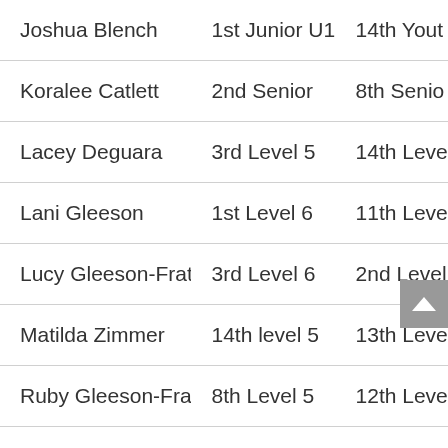| Name | Result 1 | Result 2 |
| --- | --- | --- |
| Joshua Blench | 1st Junior U17 | 14th Yout… |
| Koralee Catlett | 2nd Senior | 8th Senio… |
| Lacey Deguara | 3rd Level 5 | 14th Leve… |
| Lani Gleeson | 1st Level 6 | 11th Leve… |
| Lucy Gleeson-Frater | 3rd Level 6 | 2nd Level… |
| Matilda Zimmer | 14th level 5 | 13th Leve… |
| Ruby Gleeson-Frater | 8th Level 5 | 12th Leve… |
| Tahlia Kaden | 1st Level 7 |  |
| Thomas Lewis | 7th Level 6 | 21st Leve… |